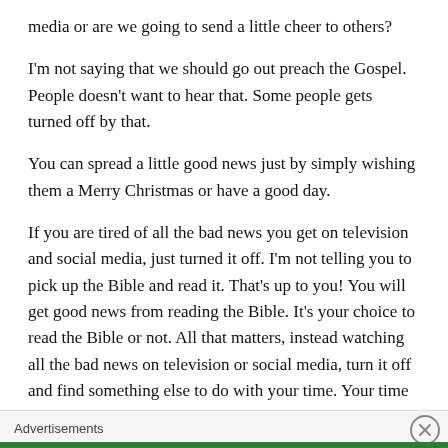media or are we going to send a little cheer to others?
I'm not saying that we should go out preach the Gospel. People doesn't want to hear that. Some people gets turned off by that.
You can spread a little good news just by simply wishing them a Merry Christmas or have a good day.
If you are tired of all the bad news you get on television and social media, just turned it off. I'm not telling you to pick up the Bible and read it. That's up to you! You will get good news from reading the Bible. It's your choice to read the Bible or not. All that matters, instead watching all the bad news on television or social media, turn it off and find something else to do with your time. Your time is important to you.
Your sanity is important to you. So why get so depress when watching the news? It will only depress you. You have a choice to either be depress by watching the news 24/7 or
Advertisements